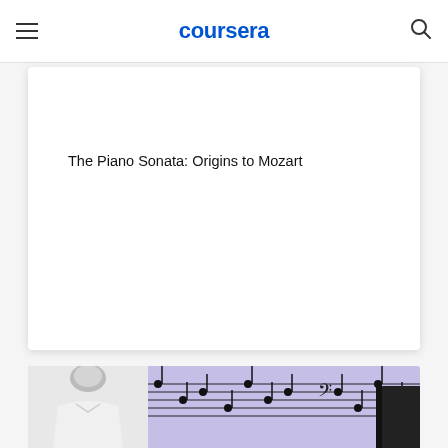coursera
The Piano Sonata: Origins to Mozart
[Figure (photo): A man in a white shirt sits at a piano against a background of music sheet notation on a purple/lavender backdrop]